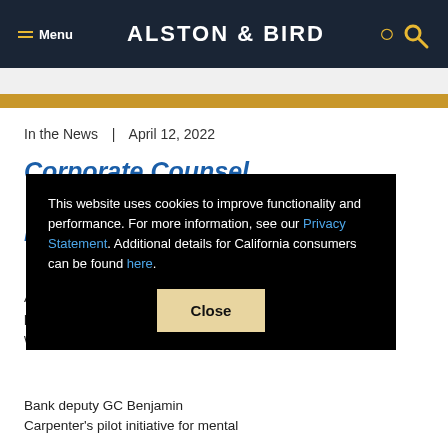Menu | ALSTON & BIRD
In the News  |  April 12, 2022
Corporate Counsel | How U.S. Bank deputy GC Benjamin Carpenter's pilot initiative for mental...
This website uses cookies to improve functionality and performance. For more information, see our Privacy Statement. Additional details for California consumers can be found here.
Bank deputy GC Benjamin Carpenter's pilot initiative for mental